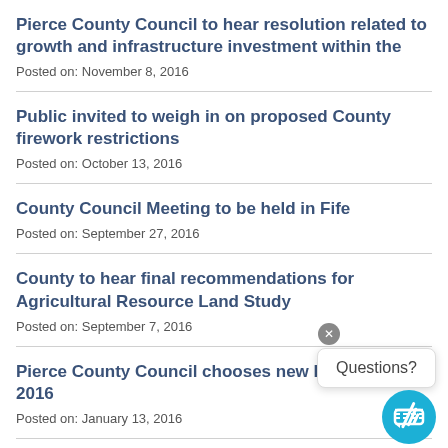Pierce County Council to hear resolution related to growth and infrastructure investment within the
Posted on: November 8, 2016
Public invited to weigh in on proposed County firework restrictions
Posted on: October 13, 2016
County Council Meeting to be held in Fife
Posted on: September 27, 2016
County to hear final recommendations for Agricultural Resource Land Study
Posted on: September 7, 2016
Pierce County Council chooses new leade… 2016
Posted on: January 13, 2016
Councilmember Young selected for new…